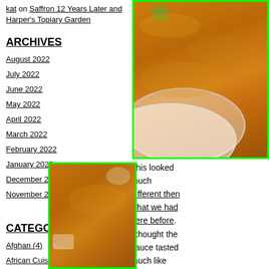kat on Saffron 12 Years Later and Harper's Topiary Garden
ARCHIVES
August 2022
July 2022
June 2022
May 2022
April 2022
March 2022
February 2022
January 2022
December 2021
November 2021
More...
CATEGORIES
Afghan (4)
African Cuisine/Restaurants (5)
[Figure (photo): Close-up photo of food in a white plate with orange/curry sauce and green garnish, bright green border]
[Figure (photo): Close-up photo of orange curry or sauce dish, bright green border]
This looked much different then what we had here before. I thought the sauce tasted much like the salsa we had with the chips. It lacked body and didn't have enough of the tangy tomato flavors. It wasn't bad, in fact the Missus still loved the slightly bitter flavor coupled with the nice crunch. I thought it wasn't quite as good as before and not nearly as good